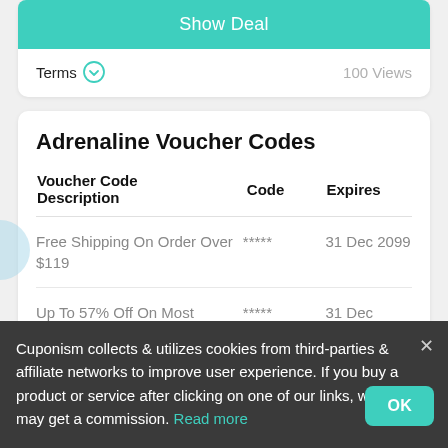Show Deal
Terms  100 Views
Adrenaline Voucher Codes
| Voucher Code Description | Code | Expires |
| --- | --- | --- |
| Free Shipping On Order Over $119 | ***** | 31 Dec 2099 |
| Up To 57% Off On Most | ***** | 31 Dec |
Cuponism collects & utilizes cookies from third-parties & affiliate networks to improve user experience. If you buy a product or service after clicking on one of our links, we may get a commission. Read more